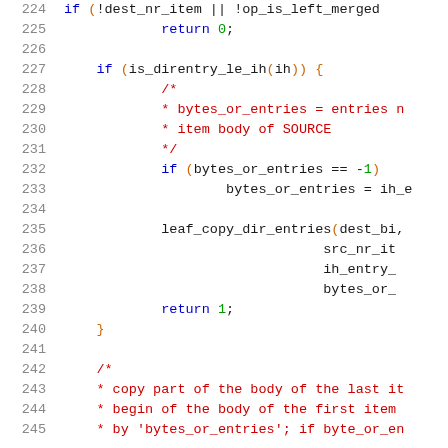[Figure (screenshot): Source code listing showing lines 224-245 of a C file, featuring code related to directory entry copying with syntax highlighting (line numbers in grey, keywords in blue, comments in red, numbers in green).]